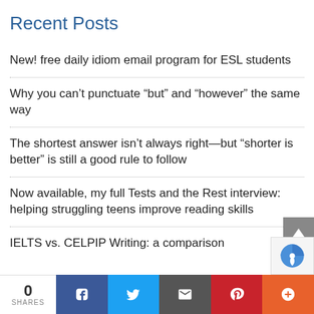Recent Posts
New! free daily idiom email program for ESL students
Why you can’t punctuate “but” and “however” the same way
The shortest answer isn’t always right—but “shorter is better” is still a good rule to follow
Now available, my full Tests and the Rest interview: helping struggling teens improve reading skills
IELTS vs. CELPIP Writing: a comparison
0 SHARES